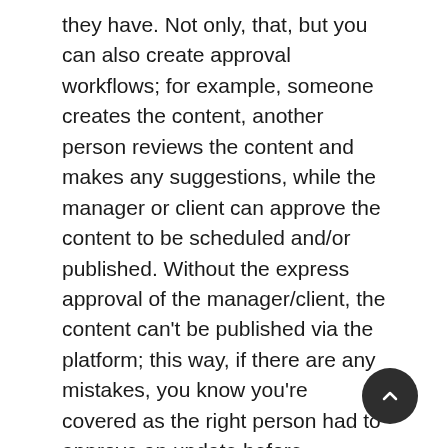they have. Not only, that, but you can also create approval workflows; for example, someone creates the content, another person reviews the content and makes any suggestions, while the manager or client can approve the content to be scheduled and/or published. Without the express approval of the manager/client, the content can't be published via the platform; this way, if there are any mistakes, you know you're covered as the right person had to approve an update before publishing it.
You can also add multiple social media accounts to your ContentCal and separate them in different calendars; otherwise, if you're managing several social networks for one